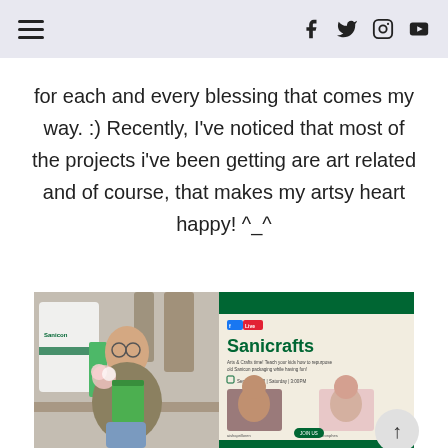Navigation header with hamburger menu and social icons (Facebook, Twitter, Instagram, YouTube)
for each and every blessing that comes my way. :) Recently, I've noticed that most of the projects i've been getting are art related and of course, that makes my artsy heart happy! ^_^
[Figure (photo): Left: Person holding flowers and green folder in front of Sanicon product packaging. Right: Sanicrafts Facebook Live event poster with two presenter photos, dated September 12, Saturday, 3:00PM.]